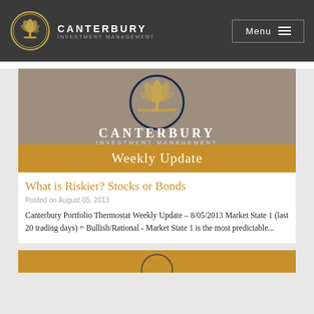CANTERBURY INVESTMENT MANAGEMENT — Menu
[Figure (logo): Canterbury Investment Management Weekly Update banner with golden wheat logo on taupe background and orange 'Weekly Update' strip]
What is Riskier? Stocks or Bonds
Posted on August 05, 2013
Canterbury Portfolio Thermostat Weekly Update – 8/05/2013 Market State 1 (last 20 trading days) = Bullish/Rational - Market State 1 is the most predictable...
[Figure (illustration): Partial Canterbury logo/image visible at bottom of page]